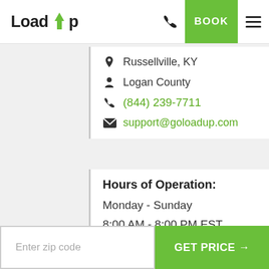LoadUp — BOOK
Russellville, KY
Logan County
(844) 239-7711
support@goloadup.com
Hours of Operation:
Monday - Sunday
8:00 AM - 8:00 PM EST
Enter zip code
GET PRICE →